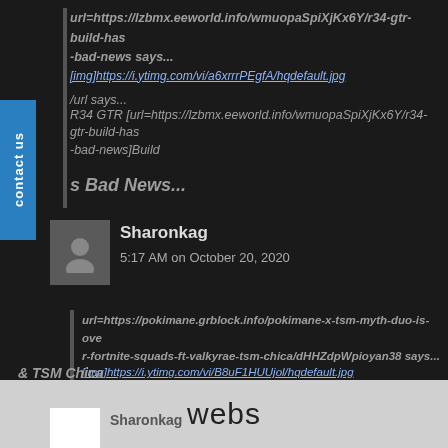url=https://lzbmx.eeworld.info/wmuopaSpiXjKx6Y/r34-gtr-build-has-bad-news says... [img]https://i.ytimg.com/vi/a6xrrrPEgfA/hqdefault.jpg
/url says... R34 GTR [url=https://lzbmx.eeworld.info/wmuopaSpiXjKx6Y/r34-gtr-build-has-bad-news]Build
s Bad News...
Sharonkag
5:17 AM on October 20, 2020
url=https://pokimane.grblock.info/pokimane-x-tsm-myth-duo-is-over-fortnite-squads-ft-valkyrae-tsm-chica/dHHZdpWpioyan38 says... [img]https://i.ytimg.com/vi/B8uF1HUUjol/hqdefault.jpg
/url says... Pokimane x TSM Myth Duo is OVER Fortnite Squads ft. [url=https://pokimane.myth-duo-is-ove r-fortnite-squads-ft-valkyrae-tsm-chica/dHHZdpWpioyan38]Valkyrae
& TSM Chica
webs
Sharonkag